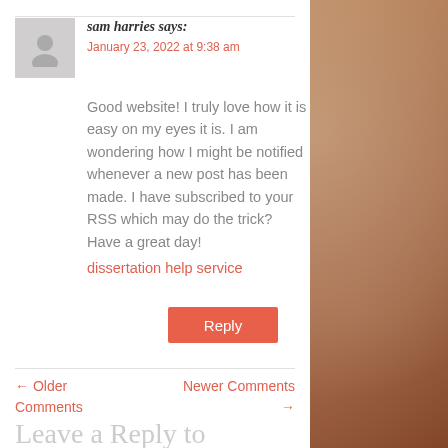sam harries says:
January 23, 2022 at 9:38 am
Good website! I truly love how it is easy on my eyes it is. I am wondering how I might be notified whenever a new post has been made. I have subscribed to your RSS which may do the trick? Have a great day!
dissertation help service
Reply
← Older Comments
Newer Comments →
Leave a Reply to